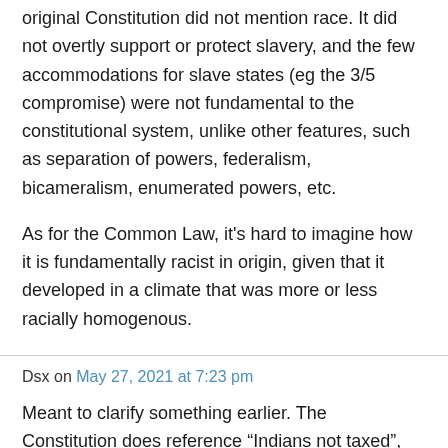original Constitution did not mention race. It did not overtly support or protect slavery, and the few accommodations for slave states (eg the 3/5 compromise) were not fundamental to the constitutional system, unlike other features, such as separation of powers, federalism, bicameralism, enumerated powers, etc.
As for the Common Law, it's hard to imagine how it is fundamentally racist in origin, given that it developed in a climate that was more or less racially homogenous.
Dsx on May 27, 2021 at 7:23 pm
Meant to clarify something earlier. The Constitution does reference "Indians not taxed",